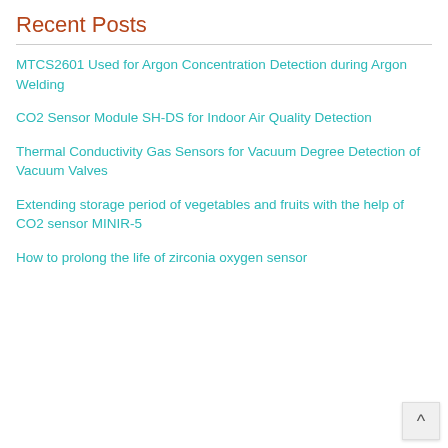Recent Posts
MTCS2601 Used for Argon Concentration Detection during Argon Welding
CO2 Sensor Module SH-DS for Indoor Air Quality Detection
Thermal Conductivity Gas Sensors for Vacuum Degree Detection of Vacuum Valves
Extending storage period of vegetables and fruits with the help of CO2 sensor MINIR-5
How to prolong the life of zirconia oxygen sensor